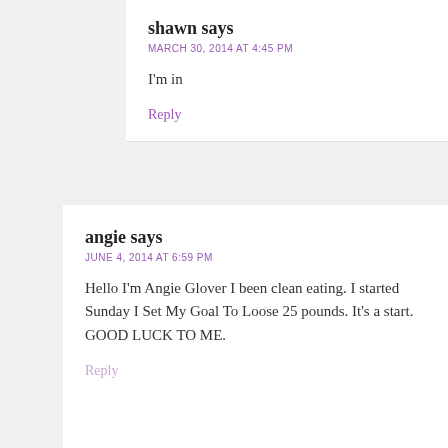shawn says
MARCH 30, 2014 AT 4:45 PM
I'm in
Reply
angie says
JUNE 4, 2014 AT 6:59 PM
Hello I'm Angie Glover I been clean eating. I started Sunday I Set My Goal To Loose 25 pounds. It's a start. GOOD LUCK TO ME.
Reply